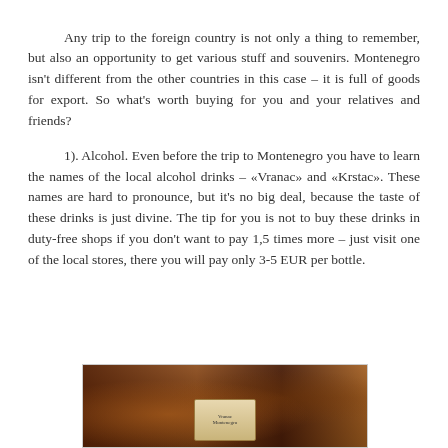Any trip to the foreign country is not only a thing to remember, but also an opportunity to get various stuff and souvenirs. Montenegro isn't different from the other countries in this case – it is full of goods for export. So what's worth buying for you and your relatives and friends?
1). Alcohol. Even before the trip to Montenegro you have to learn the names of the local alcohol drinks – «Vranac» and «Krstac». These names are hard to pronounce, but it's no big deal, because the taste of these drinks is just divine. The tip for you is not to buy these drinks in duty-free shops if you don't want to pay 1,5 times more – just visit one of the local stores, there you will pay only 3-5 EUR per bottle.
[Figure (photo): Photo of wine/alcohol bottles, partially visible at the bottom of the page, showing dark bottles against a warm-toned background]